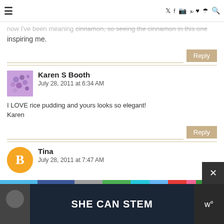≡  [nav icons: twitter, facebook, instagram, pinterest, heart, rss, search]
now I've been meaning [faded] cinnamon, so seeing the cinnamon in this one inspiring me.
Reply
Karen S Booth
July 28, 2011 at 6:34 AM
I LOVE rice pudding and yours looks so elegant! Karen
Reply
Tina
July 28, 2011 at 7:47 AM
SHE CAN STEM